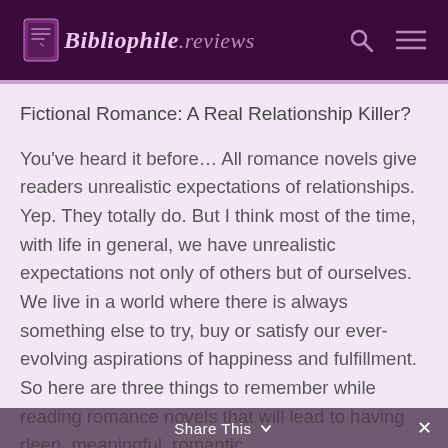Bibliophile.reviews
Fictional Romance: A Real Relationship Killer?
You've heard it before… All romance novels give readers unrealistic expectations of relationships. Yep. They totally do. But I think most of the time, with life in general, we have unrealistic expectations not only of others but of ourselves. We live in a world where there is always something else to try, buy or satisfy our ever-evolving aspirations of happiness and fulfillment. So here are three things to remember while reading romance novels that will lead to having deep, meaningful, romantic